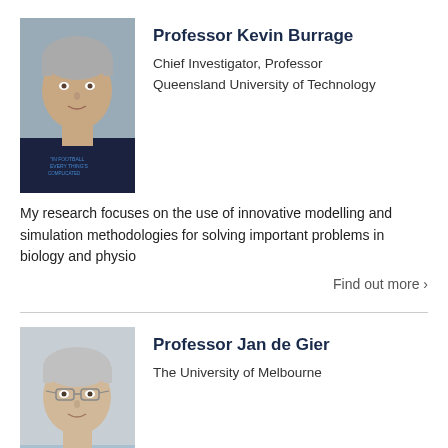[Figure (photo): Profile photo of Professor Kevin Burrage, a middle-aged man wearing a dark navy t-shirt with text on it]
Professor Kevin Burrage
Chief Investigator, Professor
Queensland University of Technology
My research focuses on the use of innovative modelling and simulation methodologies for solving important problems in biology and physio
Find out more >
[Figure (photo): Profile photo of Professor Jan de Gier, a middle-aged man with short grey hair wearing glasses and a light blue shirt]
Professor Jan de Gier
The University of Melbourne
I am interested in solvable lattice models, an area of maths which offers exciting research possibilities in pure as well as applied mat